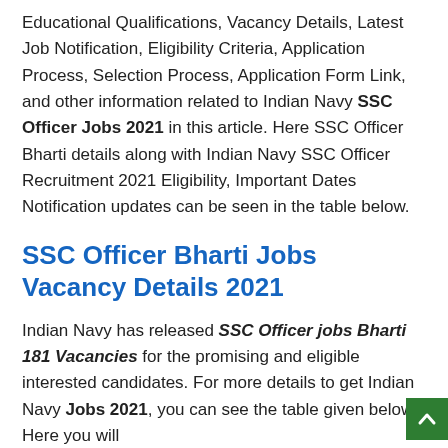Educational Qualifications, Vacancy Details, Latest Job Notification, Eligibility Criteria, Application Process, Selection Process, Application Form Link, and other information related to Indian Navy SSC Officer Jobs 2021 in this article. Here SSC Officer Bharti details along with Indian Navy SSC Officer Recruitment 2021 Eligibility, Important Dates Notification updates can be seen in the table below.
SSC Officer Bharti Jobs Vacancy Details 2021
Indian Navy has released SSC Officer jobs Bharti 181 Vacancies for the promising and eligible interested candidates. For more details to get Indian Navy Jobs 2021, you can see the table given below. Here you will